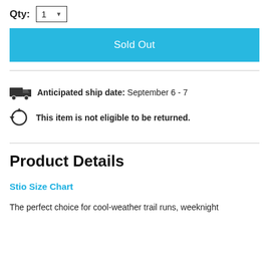Qty: 1
Sold Out
Anticipated ship date: September 6 - 7
This item is not eligible to be returned.
Product Details
Stio Size Chart
The perfect choice for cool-weather trail runs, weeknight